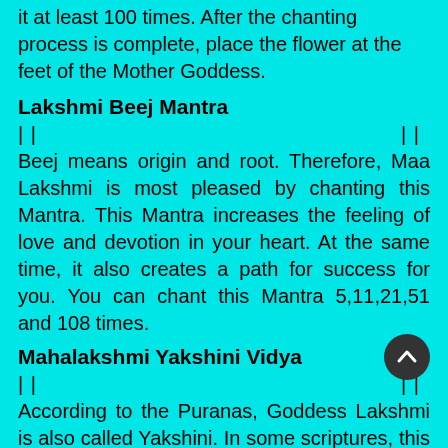it at least 100 times. After the chanting process is complete, place the flower at the feet of the Mother Goddess.
Lakshmi Beej Mantra
|| ||
Beej means origin and root. Therefore, Maa Lakshmi is most pleased by chanting this Mantra. This Mantra increases the feeling of love and devotion in your heart. At the same time, it also creates a path for success for you. You can chant this Mantra 5,11,21,51 and 108 times.
Mahalakshmi Yakshini Vidya
|| ||
According to the Puranas, Goddess Lakshmi is also called Yakshini. In some scriptures, this form of Goddess Lakshmi has been described as very beautiful. Meditating on this Mantra is a tantric process. Therefore chanting this Mantra is good for